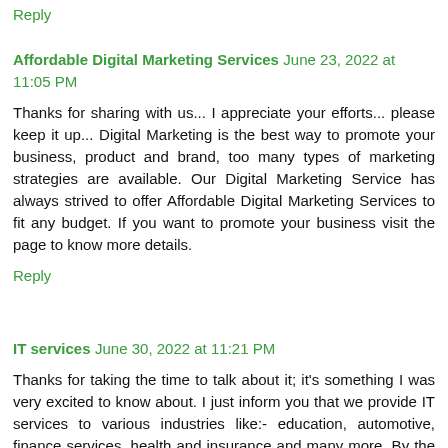Reply
Affordable Digital Marketing Services   June 23, 2022 at 11:05 PM
Thanks for sharing with us... I appreciate your efforts... please keep it up... Digital Marketing is the best way to promote your business, product and brand, too many types of marketing strategies are available. Our Digital Marketing Service has always strived to offer Affordable Digital Marketing Services to fit any budget. If you want to promote your business visit the page to know more details.
Reply
IT services   June 30, 2022 at 11:21 PM
Thanks for taking the time to talk about it; it's something I was very excited to know about. I just inform you that we provide IT services to various industries like:- education, automotive, finance services, health and insurance and many more. By the use of the latest technology for the clients of B2B & B2C both.